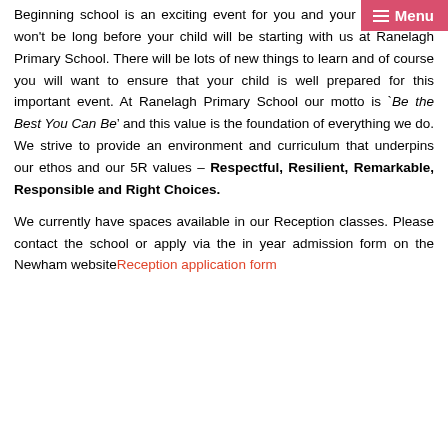[Figure (other): Navigation menu button (hamburger icon and 'Menu' label) in a pink/red bar at top right]
Beginning school is an exciting event for you and your child, and it won't be long before your child will be starting with us at Ranelagh Primary School. There will be lots of new things to learn and of course you will want to ensure that your child is well prepared for this important event. At Ranelagh Primary School our motto is 'Be the Best You Can Be' and this value is the foundation of everything we do. We strive to provide an environment and curriculum that underpins our ethos and our 5R values – Respectful, Resilient, Remarkable, Responsible and Right Choices.
We currently have spaces available in our Reception classes. Please contact the school or apply via the in year admission form on the Newham website Reception application form